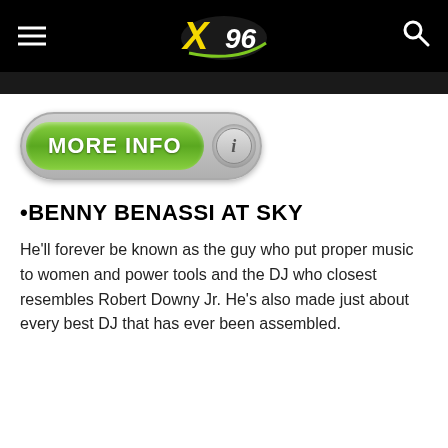X96 navigation bar with hamburger menu, X96 logo, and search icon
[Figure (logo): MORE INFO button with green pill label and grey info circle icon]
•BENNY BENASSI AT SKY
He'll forever be known as the guy who put proper music to women and power tools and the DJ who closest resembles Robert Downy Jr. He's also made just about every best DJ that has ever been assembled.